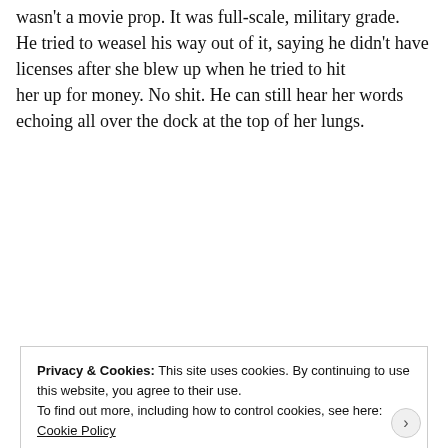wasn't a movie prop. It was full-scale, military grade.
He tried to weasel his way out of it, saying he didn't have licenses after she blew up when he tried to hit
her up for money. No shit. He can still hear her words echoing all over the dock at the top of her lungs.
[Figure (screenshot): WordPress VIP advertisement banner with slack and Facebook branding and a 'Learn more →' button]
Privacy & Cookies: This site uses cookies. By continuing to use this website, you agree to their use.
To find out more, including how to control cookies, see here:
Cookie Policy
Close and accept